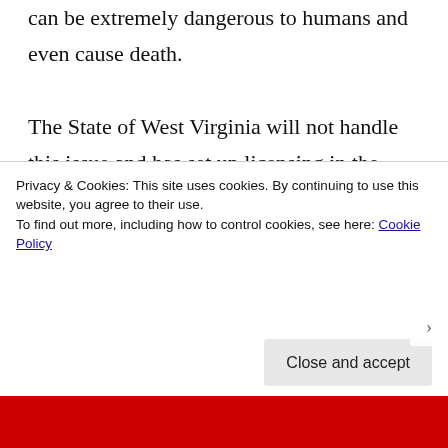can be extremely dangerous to humans and even cause death. The State of West Virginia will not handle this issue and has set up licensing in the state for wildlife removal professionals to handle your raccoon or coon issue. Professionals such as The Wildlife Professionals of Charleston are the clear choice for raccoon...
Privacy & Cookies: This site uses cookies. By continuing to use this website, you agree to their use.
To find out more, including how to control cookies, see here: Cookie Policy
Close and accept